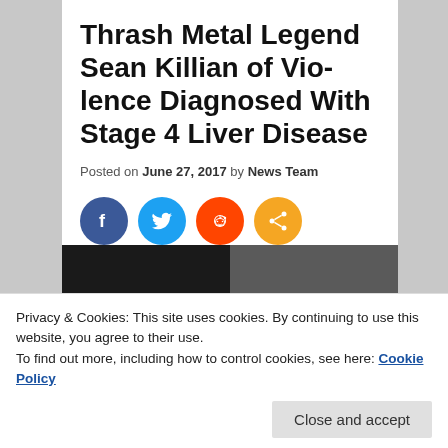Thrash Metal Legend Sean Killian of Vio-lence Diagnosed With Stage 4 Liver Disease
Posted on June 27, 2017 by News Team
[Figure (illustration): Social media share icons: Facebook (blue), Twitter (light blue), Reddit (orange-red), Share (orange)]
[Figure (photo): Dark concert/music photo with some metallic equipment visible on the right side]
Privacy & Cookies: This site uses cookies. By continuing to use this website, you agree to their use.
To find out more, including how to control cookies, see here: Cookie Policy
Close and accept